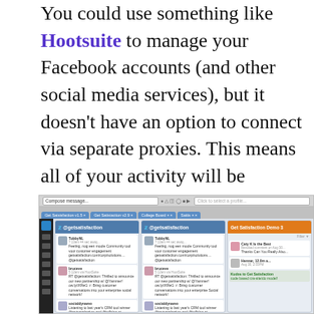You could use something like Hootsuite to manage your Facebook accounts (and other social media services), but it doesn't have an option to connect via separate proxies. This means all of your activity will be through one IP address, which just won't cut it for some people.
[Figure (screenshot): Screenshot of Hootsuite social media dashboard showing multiple Twitter/Facebook column feeds with tweets from @getsatisfaction, TubbyNL, bruceve, and socialdynamo accounts]